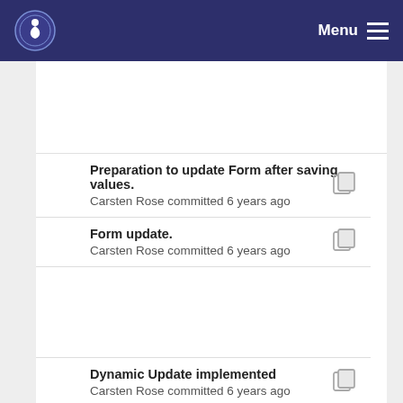Menu
Preparation to update Form after saving values. — Carsten Rose committed 6 years ago
Form update. — Carsten Rose committed 6 years ago
Dynamic Update implemented — Carsten Rose committed 6 years ago
OnArray: Add htmlEntititesOnArray() — Carsten Rose committed 6 years ago